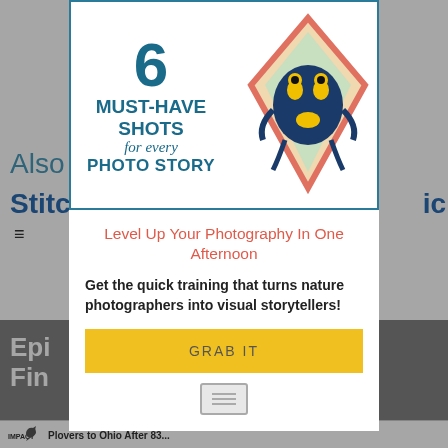[Figure (screenshot): Website background showing navigation elements, article titles including 'Epic', 'Fin...', and bottom bar with Impact logo and text 'Plovers to Ohio After 83...']
[Figure (illustration): Book cover graphic showing '6 MUST-HAVE SHOTS for every PHOTO STORY' with a blue and yellow poison dart frog in a diamond-shaped frame]
Level Up Your Photography In One Afternoon
Get the quick training that turns nature photographers into visual storytellers!
GRAB IT